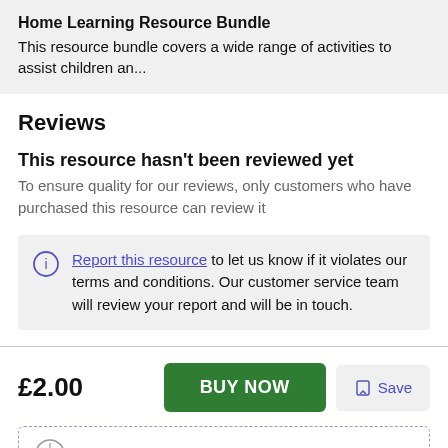Home Learning Resource Bundle
This resource bundle covers a wide range of activities to assist children an...
Reviews
This resource hasn't been reviewed yet
To ensure quality for our reviews, only customers who have purchased this resource can review it
Report this resource to let us know if it violates our terms and conditions. Our customer service team will review your report and will be in touch.
£2.00
BUY NOW
Save
Not the right resource?